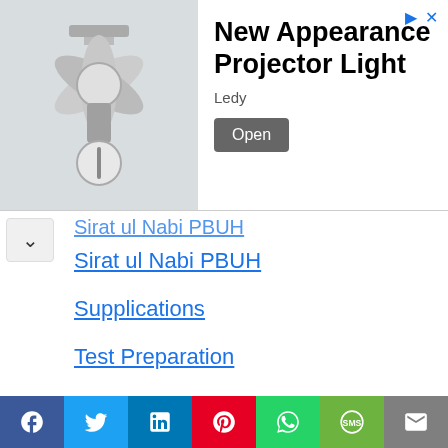[Figure (screenshot): Advertisement banner showing a projector light product image, title 'New Appearance Projector Light', brand 'Ledy', and an 'Open' button. Top-right has navigation arrow icons.]
Sirat ul Nabi PBUH
Supplications
Test Preparation
The Noble Quran Juz 1-114
UK (United Kingdom)
Uncategorized
USA (United States)
USA STATES BEST PLACES
Ushr ansd Zakat
[Figure (screenshot): Social share bar with Facebook, Twitter, LinkedIn, Pinterest, WhatsApp, SMS, and Email buttons]